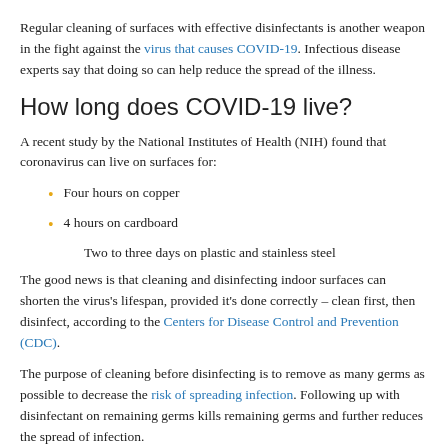Regular cleaning of surfaces with effective disinfectants is another weapon in the fight against the virus that causes COVID-19. Infectious disease experts say that doing so can help reduce the spread of the illness.
How long does COVID-19 live?
A recent study by the National Institutes of Health (NIH) found that coronavirus can live on surfaces for:
Four hours on copper
4 hours on cardboard
Two to three days on plastic and stainless steel
The good news is that cleaning and disinfecting indoor surfaces can shorten the virus's lifespan, provided it's done correctly – clean first, then disinfect, according to the Centers for Disease Control and Prevention (CDC).
The purpose of cleaning before disinfecting is to remove as many germs as possible to decrease the risk of spreading infection. Following up with disinfectant on remaining germs kills remaining germs and further reduces the spread of infection.